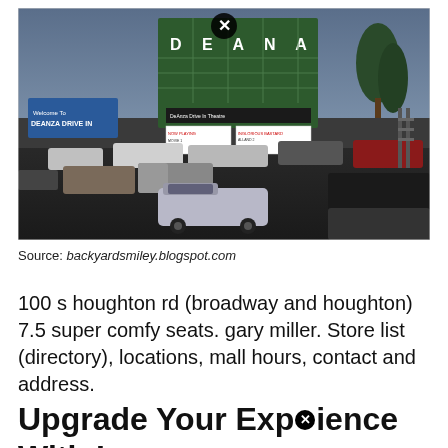[Figure (photo): Aerial/elevated photo of De Anza Drive-In Theatre at dusk. The large green marquee sign reads 'DEANZA' at the top and 'DeAnza Drive In Theatre' below with movie listings. Cars are lined up in the parking lot waiting to enter. A 'Welcome To DEANZA DRIVE IN' sign is visible on the left. A close button (X circle) appears at the top center of the image.]
Source: backyardsmiley.blogspot.com
100 s houghton rd (broadway and houghton) 7.5 super comfy seats. gary miller. Store list (directory), locations, mall hours, contact and address.
Upgrade Your Experience With Luxury